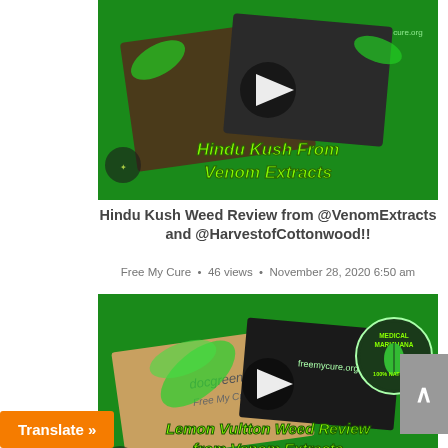[Figure (screenshot): Video thumbnail for Hindu Kush From Venom Extracts showing cannabis products on green background with play button]
Hindu Kush Weed Review from @VenomExtracts and @HarvestofCottonwood!!
Free My Cure  •  46 views  •  November 28, 2020 6:50 am
[Figure (screenshot): Video thumbnail for Lemon Vultton Weed Review from Venom Extracts showing cannabis products on green background with play button and Medical Marijuana 100% Natural badge]
Lemon Vultton Shatter Review from Venom from Harvest of Cottonwood!!!
45 views  •  November 26, 2020 9:36 pm